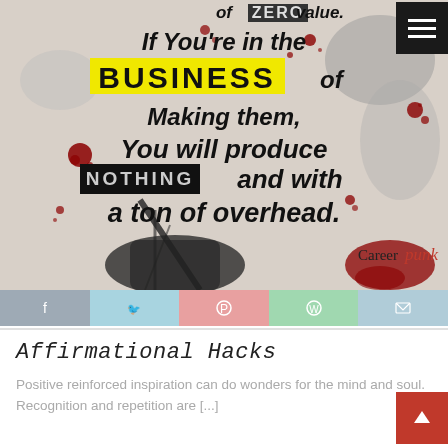[Figure (illustration): Motivational quote image with grunge/splatter background. Text reads: 'of ZERO value. If You're in the BUSINESS of Making them, You will produce NOTHING and with a ton of overhead.' CareerPunk branding at bottom right. Dark ink splatter and red paint splashes on white background. Menu hamburger icon top right.]
Affirmational Hacks
Positive reinforced inspiration can do wonders for the mind and soul. Recognition and repetition are [...]